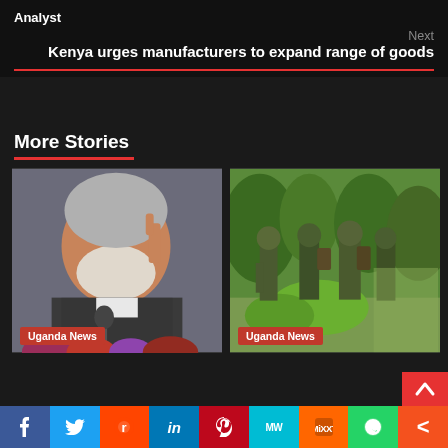Analyst
Next
Kenya urges manufacturers to expand range of goods
More Stories
[Figure (photo): Man gesturing with finger raised, wearing a dark patterned jacket, speaking at a microphone with flowers in foreground. Uganda News badge.]
[Figure (photo): Group of soldiers in camouflage standing near green trees and bushes. Uganda News badge.]
f Twitter Reddit in Pinterest MW MiXXT WhatsApp Share